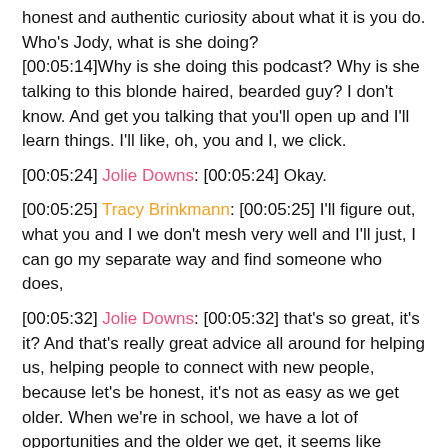honest and authentic curiosity about what it is you do. Who's Jody, what is she doing? [00:05:14]Why is she doing this podcast? Why is she talking to this blonde haired, bearded guy? I don't know. And get you talking that you'll open up and I'll learn things. I'll like, oh, you and I, we click.
[00:05:24] Jolie Downs: [00:05:24] Okay.
[00:05:25] Tracy Brinkmann: [00:05:25] I'll figure out, what you and I we don't mesh very well and I'll just, I can go my separate way and find someone who does,
[00:05:32] Jolie Downs: [00:05:32] that's so great, it's it? And that's really great advice all around for helping us, helping people to connect with new people, because let's be honest, it's not as easy as we get older. When we're in school, we have a lot of opportunities and the older we get, it seems like there's less opportunity to meet new people. [00:05:48]And those skill set that skill set can get a little dried up for some people.